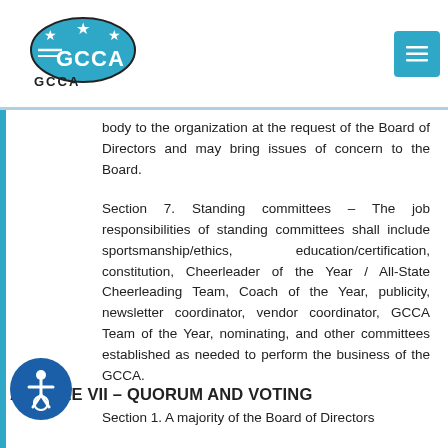GCCA logo and navigation menu
body to the organization at the request of the Board of Directors and may bring issues of concern to the Board.
Section 7. Standing committees – The job responsibilities of standing committees shall include sportsmanship/ethics, education/certification, constitution, Cheerleader of the Year / All-State Cheerleading Team, Coach of the Year, publicity, newsletter coordinator, vendor coordinator, GCCA Team of the Year, nominating, and other committees established as needed to perform the business of the GCCA.
ARTICLE VII – QUORUM AND VOTING
Section 1. A majority of the Board of Directors